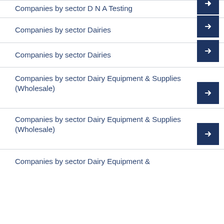Companies by sector D N A Testing
Companies by sector Dairies
Companies by sector Dairies
Companies by sector Dairy Equipment & Supplies (Wholesale)
Companies by sector Dairy Equipment & Supplies (Wholesale)
Companies by sector Dairy Equipment &